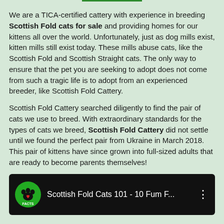We are a TICA-certified cattery with experience in breeding Scottish Fold cats for sale and providing homes for our kittens all over the world. Unfortunately, just as dog mills exist, kitten mills still exist today. These mills abuse cats, like the Scottish Fold and Scottish Straight cats. The only way to ensure that the pet you are seeking to adopt does not come from such a tragic life is to adopt from an experienced breeder, like Scottish Fold Cattery.
Scottish Fold Cattery searched diligently to find the pair of cats we use to breed. With extraordinary standards for the types of cats we breed, Scottish Fold Cattery did not settle until we found the perfect pair from Ukraine in March 2018. This pair of kittens have since grown into full-sized adults that are ready to become parents themselves!
[Figure (screenshot): Video thumbnail showing a paw print icon with the word FACTS, and the title 'Scottish Fold Cats 101 - 10 Fum F...' with a vertical dots menu icon on a dark background.]